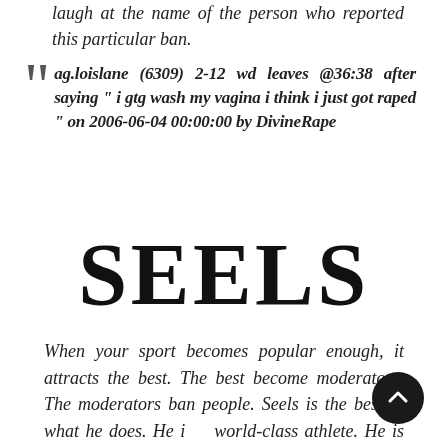laugh at the name of the person who reported this particular ban.
ag.loislane (6309) 2-12 wd leaves @36:38 after saying " i gtg wash my vagina i think i just got raped " on 2006-06-04 00:00:00 by DivineRape
SEELS
When your sport becomes popular enough, it attracts the best. The best become moderators. The moderators ban people. Seels is the best at what he does. He is a world-class athlete. He is what happens when Defense of the Ancients needed a